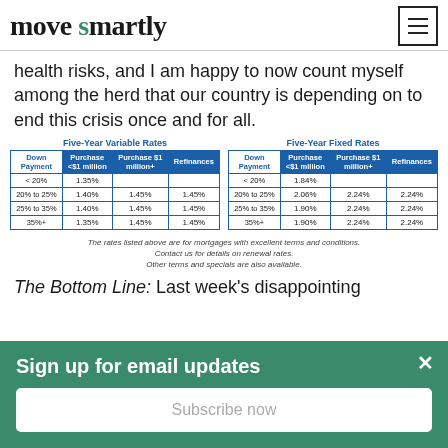move smartly
health risks, and I am happy to now count myself among the herd that our country is depending on to end this crisis once and for all.
| Down Payment | Purchase <$1 million | Purchase $1 million+ | Refinances |
| --- | --- | --- | --- |
| < 20% | 1.35% |  |  |
| 20% to 25% | 1.40% | 1.45% | 1.45% |
| 25% to 35% | 1.40% | 1.45% | 1.45% |
| 35%+ | 1.35% | 1.45% | 1.45% |
| Down Payment | Purchase <$1 million | Purchase $1 million+ | Refinances |
| --- | --- | --- | --- |
| < 20% | 1.84% |  |  |
| 20% to 25% | 2.06% | 2.24% | 2.24% |
| 25% to 35% | 1.90% | 2.24% | 2.24% |
| 35%+ | 1.90% | 2.24% | 2.24% |
The rates listed above are for mortgages with excellent terms and conditions. Contact us for details on renewal rates. Other terms and specials are also available.
The Bottom Line: Last week's disappointing
Sign up for email updates
Subscribe now